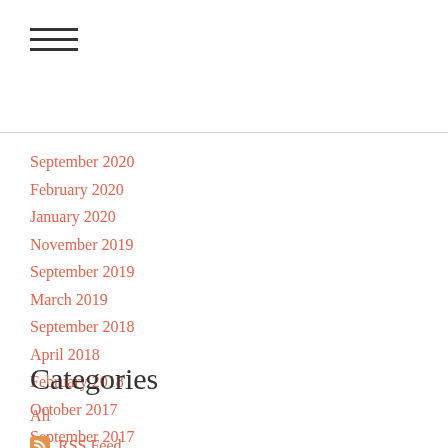[Figure (other): Hamburger menu icon with three horizontal lines]
September 2020
February 2020
January 2020
November 2019
September 2019
March 2019
September 2018
April 2018
February 2018
October 2017
September 2017
Categories
All
RSS Feed